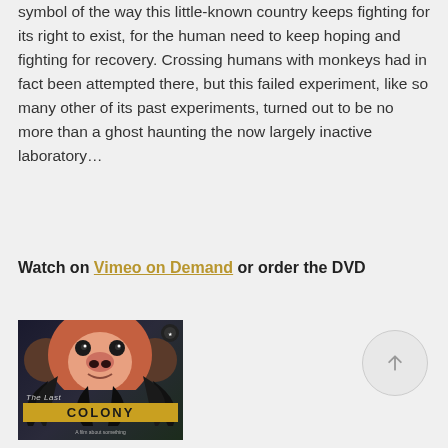symbol of the way this little-known country keeps fighting for its right to exist, for the human need to keep hoping and fighting for recovery. Crossing humans with monkeys had in fact been attempted there, but this failed experiment, like so many other of its past experiments, turned out to be no more than a ghost haunting the now largely inactive laboratory…
Watch on Vimeo on Demand or order the DVD
[Figure (photo): Book cover of 'The Last Colony' showing a monkey face at top and palm leaf silhouettes at bottom, with yellow title text on dark background]